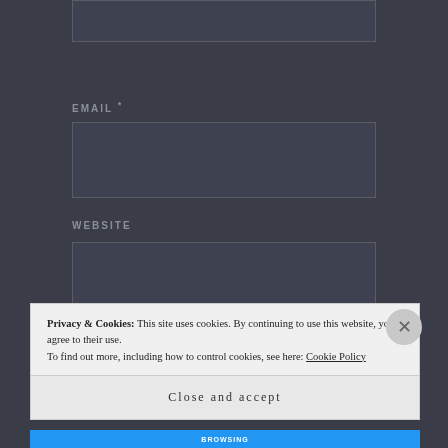EMAIL *
WEBSITE
SAVE MY NAME, EMAIL, AND WEBSITE IN THIS BROWSER FOR THE NEXT TIME I COMMENT.
Privacy & Cookies: This site uses cookies. By continuing to use this website, you agree to their use.
To find out more, including how to control cookies, see here: Cookie Policy
Close and accept